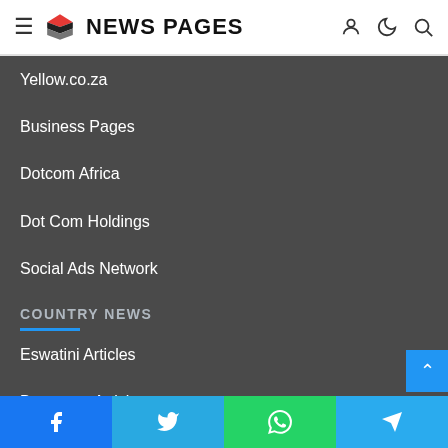NEWS PAGES
Yellow.co.za
Business Pages
Dotcom Africa
Dot Com Holdings
Social Ads Network
COUNTRY NEWS
Eswatini Articles
Botswana Articles
Lesotho Articles
Zambia Articles
Facebook | Twitter | WhatsApp | Telegram